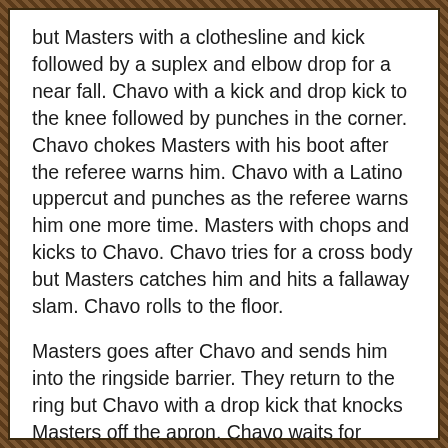but Masters with a clothesline and kick followed by a suplex and elbow drop for a near fall. Chavo with a kick and drop kick to the knee followed by punches in the corner. Chavo chokes Masters with his boot after the referee warns him. Chavo with a Latino uppercut and punches as the referee warns him one more time. Masters with chops and kicks to Chavo. Chavo tries for a cross body but Masters catches him and hits a fallaway slam. Chavo rolls to the floor.
Masters goes after Chavo and sends him into the ringside barrier. They return to the ring but Chavo with a drop kick that knocks Masters off the apron. Chavo waits for Masters to get up and he hits a senton splash from the apron and we go to commercial. We are back and Chavo with a reverse chin lock and he stomps on Masters's shoulder. Chavo with a